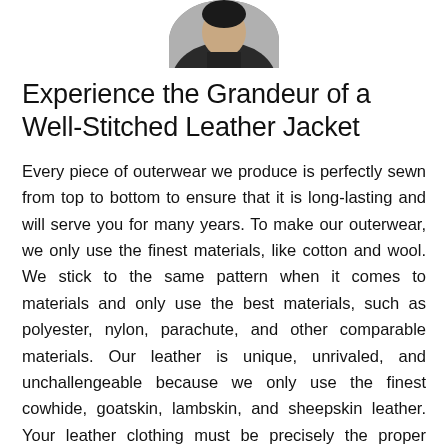[Figure (photo): Circular cropped photo of a person wearing a dark leather jacket, shown from the shoulders up, only the bottom portion visible.]
Experience the Grandeur of a Well-Stitched Leather Jacket
Every piece of outerwear we produce is perfectly sewn from top to bottom to ensure that it is long-lasting and will serve you for many years. To make our outerwear, we only use the finest materials, like cotton and wool. We stick to the same pattern when it comes to materials and only use the best materials, such as polyester, nylon, parachute, and other comparable materials. Our leather is unique, unrivaled, and unchallengeable because we only use the finest cowhide, goatskin, lambskin, and sheepskin leather. Your leather clothing must be precisely the proper length for your